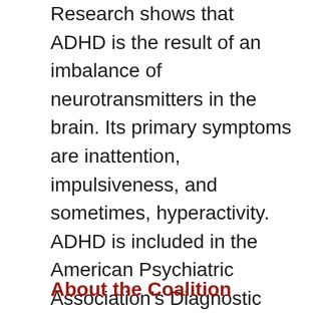Research shows that ADHD is the result of an imbalance of neurotransmitters in the brain. Its primary symptoms are inattention, impulsiveness, and sometimes, hyperactivity. ADHD is included in the American Psychiatric Association's Diagnostic and Statistical Manual for Mental Disorders (DSM-IV-TR) which provides criteria for diagnosing the condition.
About the Coalition